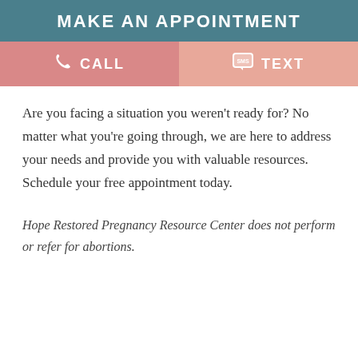MAKE AN APPOINTMENT
[Figure (infographic): Two-button action bar with CALL (left, darker pink with phone icon) and TEXT (right, lighter pink with SMS icon)]
Are you facing a situation you weren't ready for? No matter what you're going through, we are here to address your needs and provide you with valuable resources. Schedule your free appointment today.
Hope Restored Pregnancy Resource Center does not perform or refer for abortions.